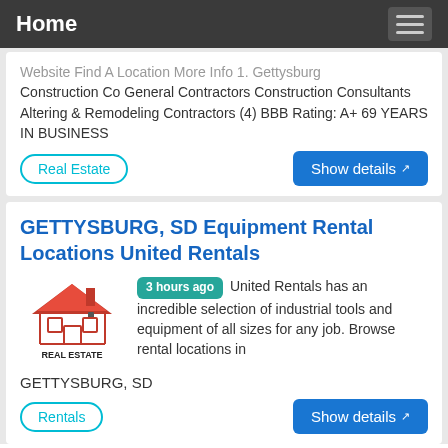Home
Website Find A Location More Info 1. Gettysburg Construction Co General Contractors Construction Consultants Altering & Remodeling Contractors (4) BBB Rating: A+ 69 YEARS IN BUSINESS
Real Estate
Show details
GETTYSBURG, SD Equipment Rental Locations United Rentals
[Figure (logo): Real Estate logo with red house roof icon and text REAL ESTATE]
3 hours ago United Rentals has an incredible selection of industrial tools and equipment of all sizes for any job. Browse rental locations in GETTYSBURG, SD
Rentals
Show details